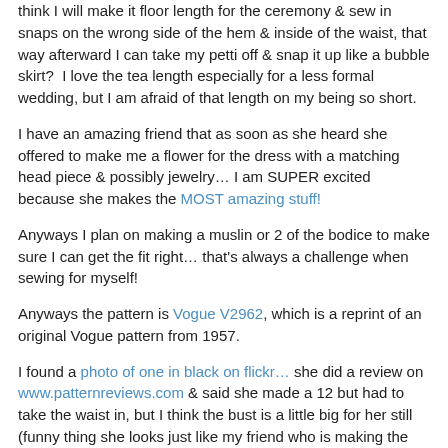think I will make it floor length for the ceremony & sew in snaps on the wrong side of the hem & inside of the waist, that way afterward I can take my petti off & snap it up like a bubble skirt?  I love the tea length especially for a less formal wedding, but I am afraid of that length on my being so short.
I have an amazing friend that as soon as she heard she offered to make me a flower for the dress with a matching head piece & possibly jewelry… I am SUPER excited because she makes the MOST amazing stuff!
Anyways I plan on making a muslin or 2 of the bodice to make sure I can get the fit right… that's always a challenge when sewing for myself!
Anyways the pattern is Vogue V2962, which is a reprint of an original Vogue pattern from 1957.
I found a photo of one in black on flickr… she did a review on www.patternreviews.com & said she made a 12 but had to take the waist in, but I think the bust is a little big for her still (funny thing she looks just like my friend who is making the stuff for me!) I figure being busty I can gather it a hair more so they over lap a little less & it is cut a little deeper to show just a little 'classy cleavage'.